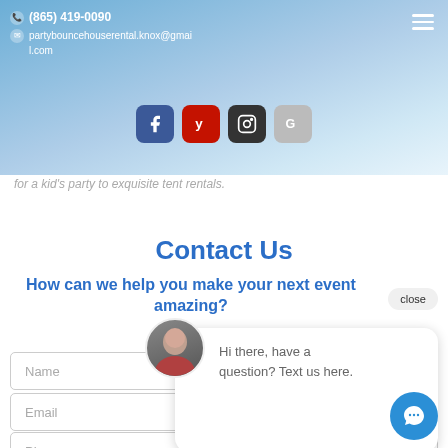(865) 419-0090 partybouncehouserental.knox@gmail.com
[Figure (screenshot): Social media icons row: Facebook (blue), Yelp (red), Instagram (dark), Google (grey)]
for a kid's party to exquisite tent rentals.
Contact Us
How can we help you make your next event amazing?
close
[Figure (screenshot): Chat popup bubble with avatar photo of woman, text: Hi there, have a question? Text us here.]
Name
Email
Phone